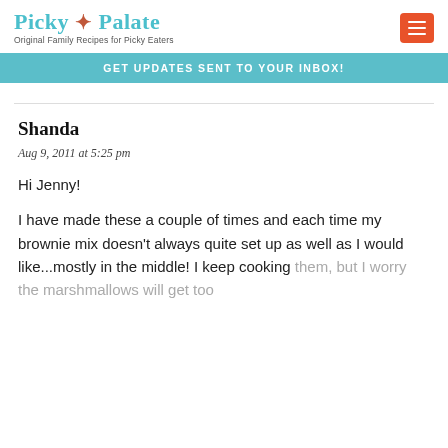Picky Palate — Original Family Recipes for Picky Eaters
GET UPDATES SENT TO YOUR INBOX!
Shanda
Aug 9, 2011 at 5:25 pm
Hi Jenny!

I have made these a couple of times and each time my brownie mix doesn't always quite set up as well as I would like...mostly in the middle! I keep cooking them, but I worry the marshmallows will get too brown before the middle sets up.